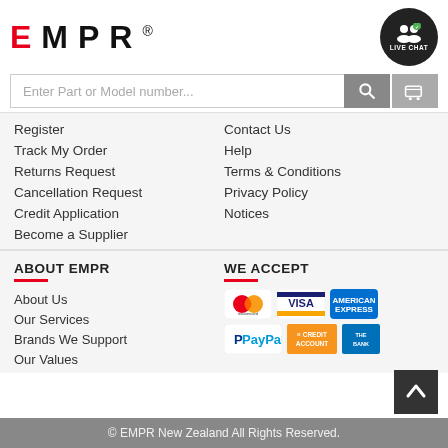[Figure (logo): EMPR logo in large bold lettering with E in red and MPR in black, followed by registered trademark symbol]
[Figure (illustration): Live Chat button - dark circle with person/chat icon and green checkmark, labeled LIVE CHAT]
[Figure (illustration): Search bar with placeholder 'Enter Part or Model number...' and grey search button, plus grey cart button]
Register
Track My Order
Returns Request
Cancellation Request
Credit Application
Become a Supplier
Contact Us
Help
Terms & Conditions
Privacy Policy
Notices
ABOUT EMPR
About Us
Our Services
Brands We Support
Our Values
WE ACCEPT
[Figure (illustration): Payment method icons: Mastercard, Visa, American Express, PayPal, Credit Account, The Bank]
© EMPR New Zealand All Rights Reserved.